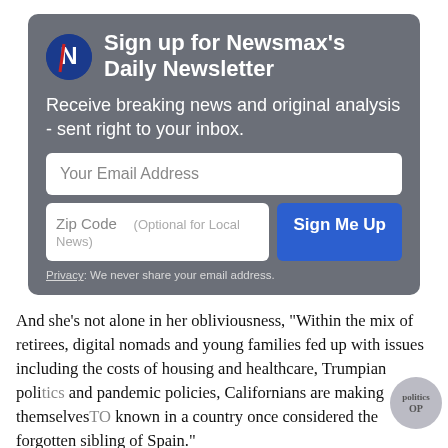[Figure (logo): Newsmax logo circle with N letter]
Sign up for Newsmax's Daily Newsletter
Receive breaking news and original analysis - sent right to your inbox.
Your Email Address
Zip Code   (Optional for Local News)   Sign Me Up
Privacy: We never share your email address.
And she's not alone in her obliviousness, "Within the mix of retirees, digital nomads and young families fed up with issues including the costs of housing and healthcare, Trumpian politics and pandemic policies, Californians are making themselves known in a country once considered the forgotten sibling of Spain."
"Known" and not in a good way.